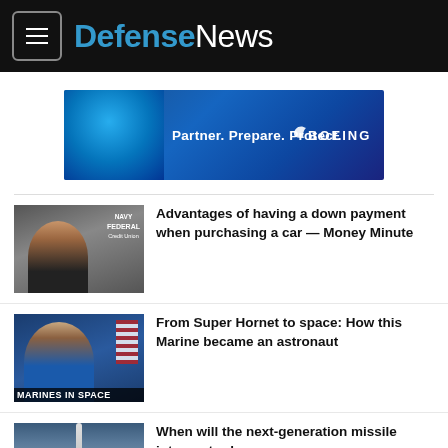DefenseNews
[Figure (illustration): Boeing advertisement banner with globe imagery and text: Partner. Prepare. Protect. Boeing logo.]
Advantages of having a down payment when purchasing a car — Money Minute
From Super Hornet to space: How this Marine became an astronaut
When will the next-generation missile interceptor be